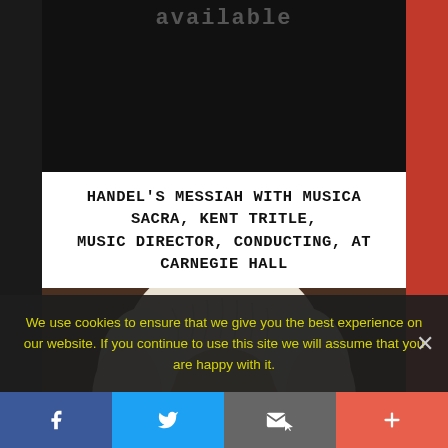[Figure (screenshot): Top black image area with partially visible text 'available' in dark gray]
HANDEL'S MESSIAH WITH MUSICA SACRA, KENT TRITLE, MUSIC DIRECTOR, CONDUCTING, AT CARNEGIE HALL
[Figure (photo): Portrait painting of George Frideric Handel in a white powdered wig and period clothing]
We use cookies to ensure that we give you the best experience on our website. If you continue to use this site we will assume that you are happy with it.